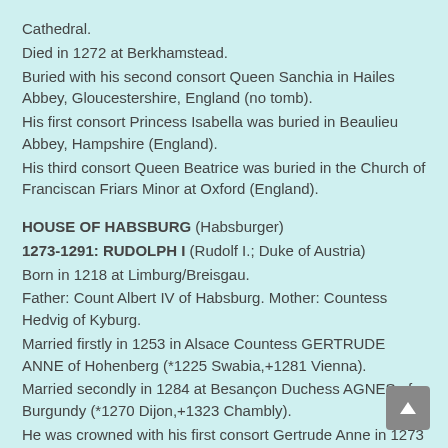Cathedral.
Died in 1272 at Berkhamstead.
Buried with his second consort Queen Sanchia in Hailes Abbey, Gloucestershire, England (no tomb).
His first consort Princess Isabella was buried in Beaulieu Abbey, Hampshire (England).
His third consort Queen Beatrice was buried in the Church of Franciscan Friars Minor at Oxford (England).
HOUSE OF HABSBURG (Habsburger)
1273-1291: RUDOLPH I (Rudolf I.; Duke of Austria)
Born in 1218 at Limburg/Breisgau.
Father: Count Albert IV of Habsburg. Mother: Countess Hedvig of Kyburg.
Married firstly in 1253 in Alsace Countess GERTRUDE ANNE of Hohenberg (*1225 Swabia,+1281 Vienna).
Married secondly in 1284 at Besançon Duchess AGNES of Burgundy (*1270 Dijon,+1323 Chambly).
He was crowned with his first consort Gertrude Anne in 1273 in Aachen Cathedral.